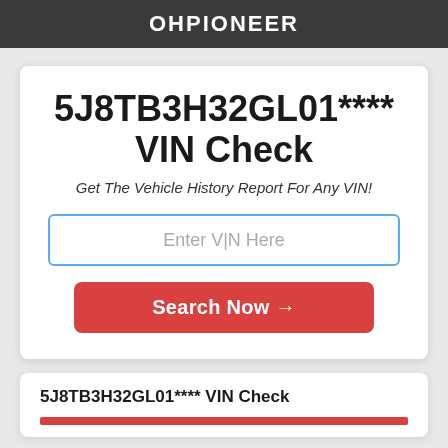OHPIONEER
5J8TB3H32GL01**** VIN Check
Get The Vehicle History Report For Any VIN!
Enter VIN Here
Search Now →
5J8TB3H32GL01**** VIN Check